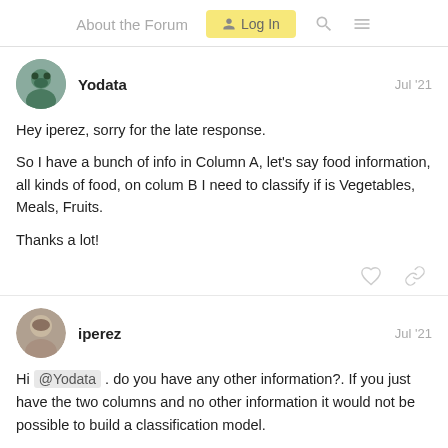About the Forum  Log In
Yodata   Jul '21
Hey iperez, sorry for the late response.

So I have a bunch of info in Column A, let's say food information, all kinds of food, on colum B I need to classify if is Vegetables, Meals, Fruits.

Thanks a lot!
iperez   Jul '21
Hi @Yodata . do you have any other information?. If you just have the two columns and no other information it would not be possible to build a classification model.